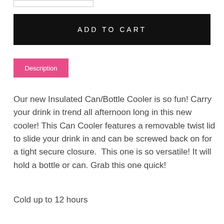[Figure (other): Partial input/search box element at top of page]
ADD TO CART
Description
Our new Insulated Can/Bottle Cooler is so fun! Carry your drink in trend all afternoon long in this new cooler! This Can Cooler features a removable twist lid to slide your drink in and can be screwed back on for a tight secure closure.  This one is so versatile! It will hold a bottle or can. Grab this one quick!
Cold up to 12 hours